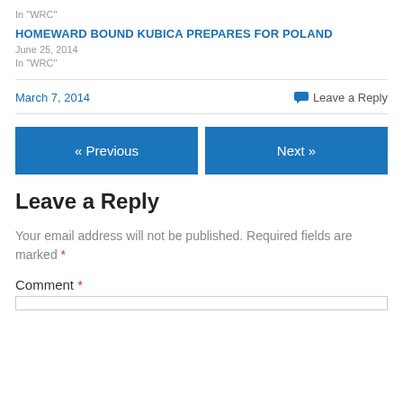In "WRC"
HOMEWARD BOUND KUBICA PREPARES FOR POLAND
June 25, 2014
In "WRC"
March 7, 2014
Leave a Reply
« Previous
Next »
Leave a Reply
Your email address will not be published. Required fields are marked *
Comment *